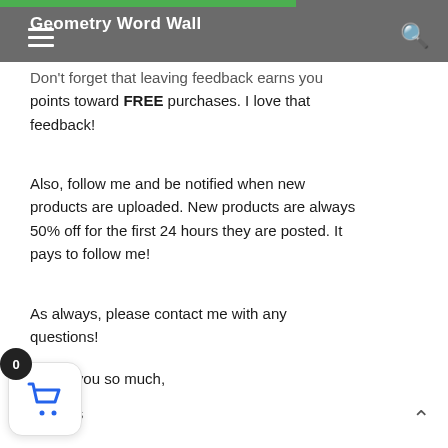Geometry Word Wall
Don't forget that leaving feedback earns you points toward FREE purchases. I love that feedback!
Also, follow me and be notified when new products are uploaded. New products are always 50% off for the first 24 hours they are posted. It pays to follow me!
As always, please contact me with any questions!
Thank you so much,
lly Rees